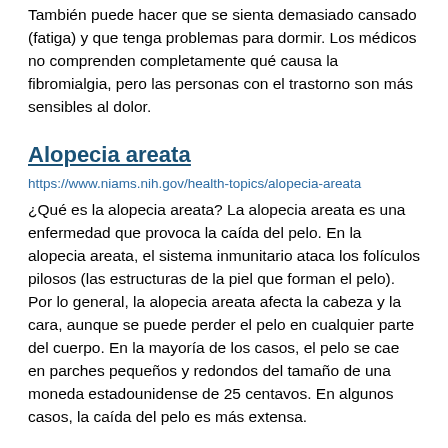También puede hacer que se sienta demasiado cansado (fatiga) y que tenga problemas para dormir. Los médicos no comprenden completamente qué causa la fibromialgia, pero las personas con el trastorno son más sensibles al dolor.
Alopecia areata
https://www.niams.nih.gov/health-topics/alopecia-areata
¿Qué es la alopecia areata? La alopecia areata es una enfermedad que provoca la caída del pelo. En la alopecia areata, el sistema inmunitario ataca los folículos pilosos (las estructuras de la piel que forman el pelo). Por lo general, la alopecia areata afecta la cabeza y la cara, aunque se puede perder el pelo en cualquier parte del cuerpo. En la mayoría de los casos, el pelo se cae en parches pequeños y redondos del tamaño de una moneda estadounidense de 25 centavos. En algunos casos, la caída del pelo es más extensa.
Alopecia Areata
https://www.niams.nih.gov/health-topics/alopecia-areata
What is alopecia areata? Alopecia areata is a disease that causes hair loss. In alopecia areata, the immune system attacks the structures in skin that form hair (hair follicles). Alopecia areata usually affects the head and face, though hair can be lost from any part of the body. Hair typically falls out in small, round patches about